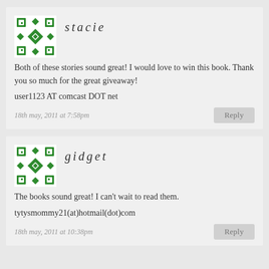[Figure (illustration): Green decorative avatar with geometric floral/snowflake pattern on white background]
stacie
Both of these stories sound great! I would love to win this book. Thank you so much for the great giveaway!
user1123 AT comcast DOT net
18th may, 2011 at 7:58pm
Reply
[Figure (illustration): Green decorative avatar with geometric floral/snowflake pattern on white background]
gidget
The books sound great! I can't wait to read them.
tytysmommy21(at)hotmail(dot)com
18th may, 2011 at 10:38pm
Reply